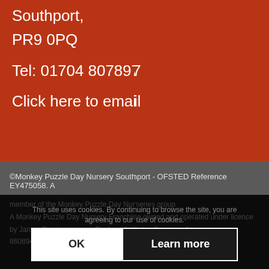Southport,
PR9 0PQ
Tel: 01704 807897
Click here to email
©Monkey Puzzle Day Nursery Southport - OFSTED Reference EY475058. A
member of the Monkey Puzzle Day Nurseries group
A Monkey Puzzle Day Nursery Franchise owned and operated under licence
by James Barrington ... England & Wales Company No.
8608944, Registered ... Hall Street,
This site uses cookies. By continuing to browse the site, you are agreeing to our use of cookies.
OK
Learn more